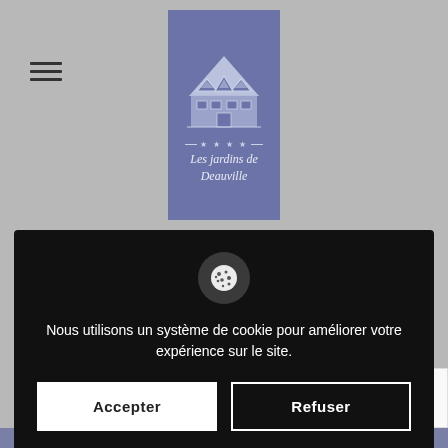[Figure (logo): Les jardins de Deauville hotel logo on purple/indigo background with house illustration and stars]
[Figure (infographic): Cookie consent overlay on black background with cookie icon, message text, and two buttons: Accepter and Refuser]
SUIVANT
Facial
[Figure (logo): reCAPTCHA badge with privacy and terms link]